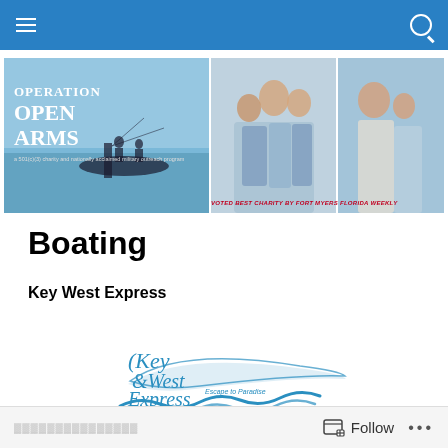Navigation bar with hamburger menu and search icon
[Figure (illustration): Operation Open Arms banner — shows silhouette of fishermen on boat at sea (left panel), family portrait in blue/white clothes (center panel), woman with child at beach (right panel). Text overlay reads 'Operation Open Arms' and 'a 501(c)(3) charity and nationally acclaimed military outreach program' and 'Voted Best Charity by Fort Myers Florida Weekly']
Boating
Key West Express
[Figure (logo): Key West Express logo — stylized script text 'Key West Express' with tagline 'Escape to Paradise' and blue wave/wing graphic element]
Follow ...